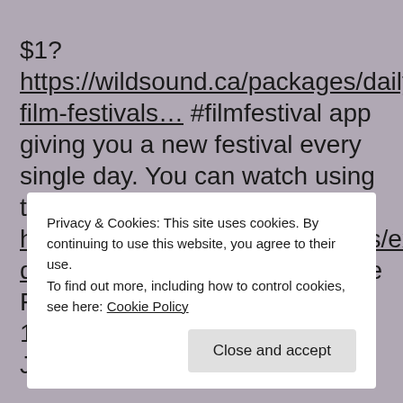$1?https://wildsound.ca/packages/daily-film-festivals… #filmfestival app giving you a new festival every single day. You can watch using the direct link here: https://www.wildsound.ca/videos/experimental-dance-festival-june-29th See the Full Lineup of Films: ELIXIR, 10min,. CanadaDirected by Jean-Marc AbelaAfter…
Privacy & Cookies: This site uses cookies. By continuing to use this website, you agree to their use.
To find out more, including how to control cookies, see here: Cookie Policy
Close and accept